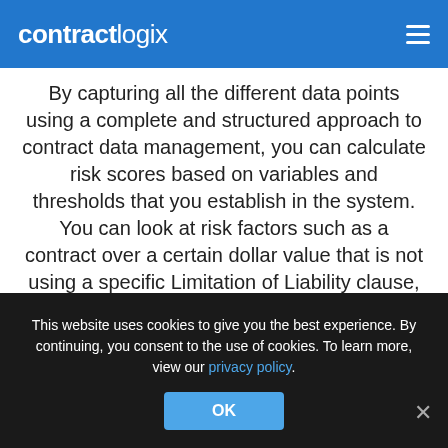contractlogix
By capturing all the different data points using a complete and structured approach to contract data management, you can calculate risk scores based on variables and thresholds that you establish in the system. You can look at risk factors such as a contract over a certain dollar value that is not using a specific Limitation of Liability clause, or a contract renewing in a certain month of the following year, or maybe you want to factor in when an outdated version of a California Governing Law clause was used.
This website uses cookies to give you the best experience. By continuing, you consent to the use of cookies. To learn more, view our privacy policy.